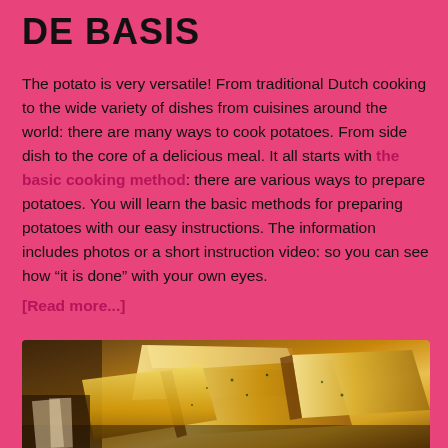DE BASIS
The potato is very versatile! From traditional Dutch cooking to the wide variety of dishes from cuisines around the world: there are many ways to cook potatoes. From side dish to the core of a delicious meal. It all starts with the basic cooking method: there are various ways to prepare potatoes. You will learn the basic methods for preparing potatoes with our easy instructions. The information includes photos or a short instruction video: so you can see how “it is done” with your own eyes. [Read more...]
[Figure (photo): Photo of roasted or baked potato wedges with herbs, close-up shot showing golden-brown potato wedges on a wooden surface]